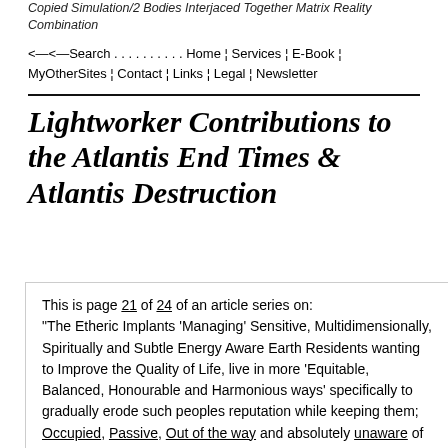Copied Simulation/2 Bodies Interjaced Together Matrix Reality Combination
<——<——Search . . . . . . . . . . Home ¦ Services ¦ E-Book ¦ MyOtherSites ¦ Contact ¦ Links ¦ Legal ¦ Newsletter
Lightworker Contributions to the Atlantis End Times & Atlantis Destruction
This is page 21 of 24 of an article series on: "The Etheric Implants 'Managing' Sensitive, Multidimensionally, Spiritually and Subtle Energy Aware Earth Residents wanting to Improve the Quality of Life, live in more 'Equitable, Balanced, Honourable and Harmonious ways' specifically to gradually erode such peoples reputation while keeping them; Occupied, Passive, Out of the way and absolutely unaware of anything they might otherwise disagree with."